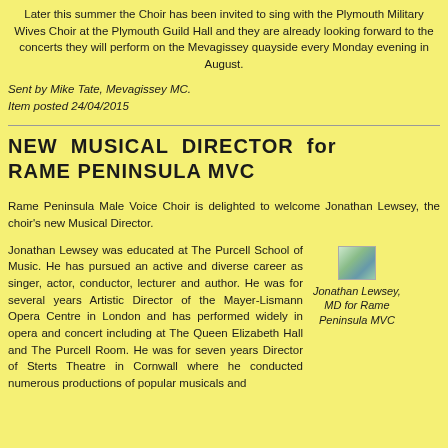Later this summer the Choir has been invited to sing with the Plymouth Military Wives Choir at the Plymouth Guild Hall and they are already looking forward to the concerts they will perform on the Mevagissey quayside every Monday evening in August.
Sent by Mike Tate, Mevagissey MC.
Item posted 24/04/2015
NEW MUSICAL DIRECTOR for RAME PENINSULA MVC
Rame Peninsula Male Voice Choir is delighted to welcome Jonathan Lewsey, the choir's new Musical Director.
Jonathan Lewsey was educated at The Purcell School of Music. He has pursued an active and diverse career as singer, actor, conductor, lecturer and author. He was for several years Artistic Director of the Mayer-Lismann Opera Centre in London and has performed widely in opera and concert including at The Queen Elizabeth Hall and The Purcell Room. He was for seven years Director of Sterts Theatre in Cornwall where he conducted numerous productions of popular musicals and
[Figure (photo): Photo of Jonathan Lewsey, MD for Rame Peninsula MVC]
Jonathan Lewsey, MD for Rame Peninsula MVC